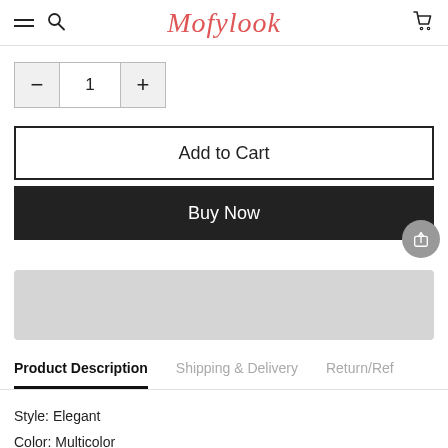Mofylook
- 1 +
Add to Cart
Buy Now
[Figure (other): Gray placeholder bar]
Product Description   Shipping & Delivery   Return/Ref
Style: Elegant
Color: Multicolor